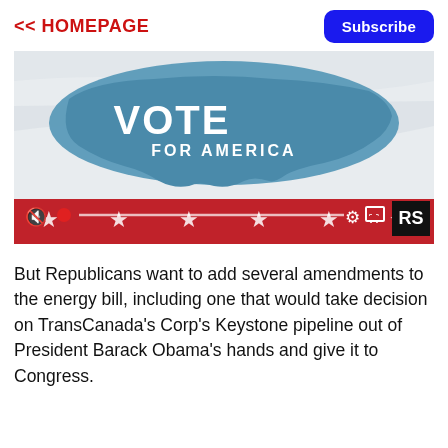<< HOMEPAGE
[Figure (screenshot): Video thumbnail showing a waving flag with 'VOTE FOR AMERICA' text and a US map silhouette in blue and white, with video player controls at the bottom including mute, progress bar, settings, fullscreen, and RS logo.]
But Republicans want to add several amendments to the energy bill, including one that would take decision on TransCanada's Corp's Keystone pipeline out of President Barack Obama's hands and give it to Congress.